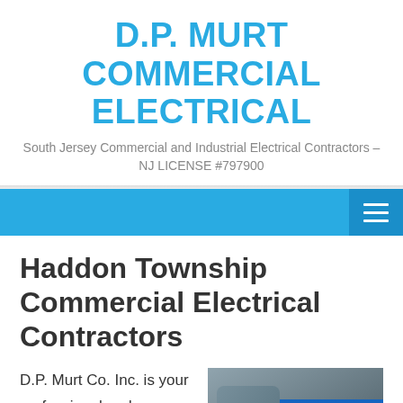D.P. MURT COMMERCIAL ELECTRICAL
South Jersey Commercial and Industrial Electrical Contractors – NJ LICENSE #797900
Haddon Township Commercial Electrical Contractors
D.P. Murt Co. Inc. is your professional and dependable
[Figure (photo): Close-up photo of an electrician in a blue uniform working with tools]